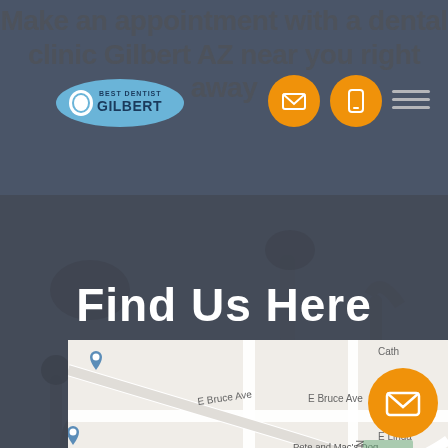Make an appointment with a dental clinic Gilbert AZ near you right away
[Figure (logo): Best Dentist Gilbert logo - blue oval with tooth icon and text]
Find Us Here
[Figure (map): Google Maps view showing E Bruce Ave, E Linda Ln, E Washington Ave, N Cottonwood Dr, United States Postal Service, Pete and Mac's Dog Boarding and Training, Greenfield Jr High, Hummingbird Lane Fabrics, E Avenida Sierra Madre]